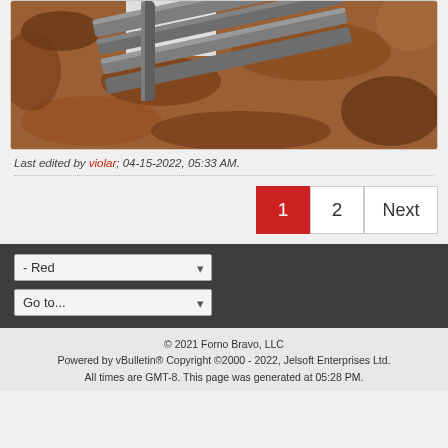[Figure (photo): Close-up photo of metal steel grill/rack bars resting on granite stone surface with brown/orange speckled pattern]
Last edited by violar; 04-15-2022, 05:33 AM.
1  2  Next (pagination buttons)
- Red dropdown selector
Go to... dropdown selector
© 2021 Forno Bravo, LLC
Powered by vBulletin® Copyright ©2000 - 2022, Jelsoft Enterprises Ltd.
All times are GMT-8. This page was generated at 05:28 PM.